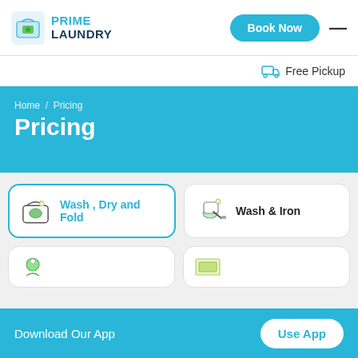[Figure (logo): Prime Laundry logo with shirt icon, PRIME LAUNDRY text, Book Now button, and hamburger menu]
Free Pickup
Home / Pricing
Pricing
Wash , Dry and Fold
Wash & Iron
Download Our App
Use App